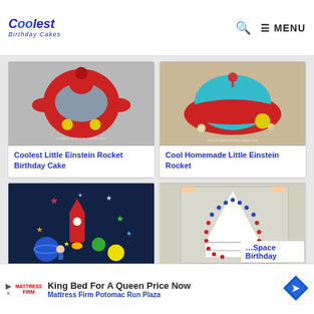Coolest Birthday Cakes — MENU
[Figure (photo): Red Little Einstein rocket shaped birthday cake, viewed from above, with yellow headlights]
Coolest Little Einstein Rocket Birthday Cake
[Figure (photo): Cool Homemade Little Einstein Rocket cake, red saucer shape with teal top and yellow circle]
Cool Homemade Little Einstein Rocket
[Figure (photo): Space themed birthday cake with rocket and colorful stars on blue background]
[Figure (photo): White rocket space birthday cake with blue and red dot decorations on foil]
…Space Birthday
[Figure (infographic): Advertisement: King Bed For A Queen Price Now — Mattress Firm Potomac Run Plaza]